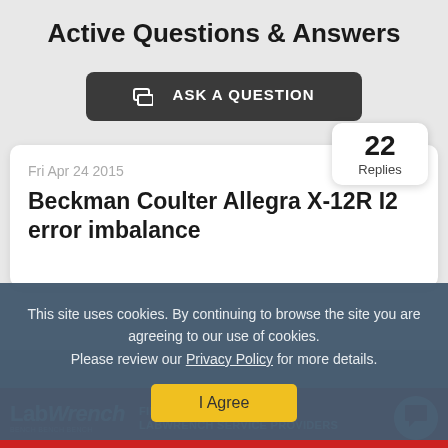Active Questions & Answers
ASK A QUESTION
Fri Apr 24 2015
22 Replies
Beckman Coulter Allegra X-12R I2 error imbalance
This site uses cookies. By continuing to browse the site you are agreeing to our use of cookies. Please review our Privacy Policy for more details.
I Agree
[Figure (logo): LabWrench logo and banner: FIND SUPPORT WITH LabWrench SERVICE PROVIDERS on red background]